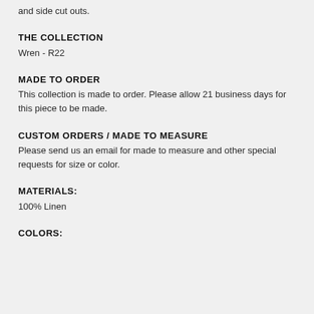and side cut outs.
THE COLLECTION
Wren - R22
MADE TO ORDER
This collection is made to order. Please allow 21 business days for this piece to be made.
CUSTOM ORDERS / MADE TO MEASURE
Please send us an email for made to measure and other special requests for size or color.
MATERIALS:
100% Linen
COLORS: